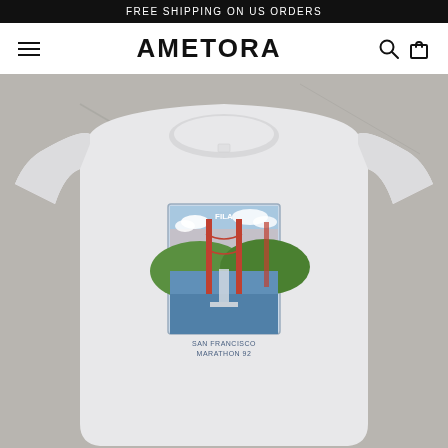FREE SHIPPING ON US ORDERS
AMETORA
[Figure (photo): White t-shirt laid flat on a concrete surface. The shirt features a graphic print on the chest depicting the Golden Gate Bridge with a FILA logo, sky, hills, and water. Text below the graphic reads 'SAN FRANCISCO MARATHON 92'.]